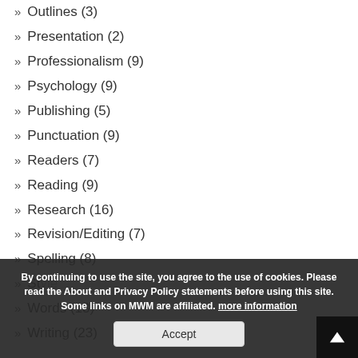Outlines (3)
Presentation (2)
Professionalism (9)
Psychology (9)
Publishing (5)
Punctuation (9)
Readers (7)
Reading (9)
Research (16)
Revision/Editing (7)
Spelling (8)
Style (...)
Words (13)
Writing (23)
By continuing to use the site, you agree to the use of cookies. Please read the About and Privacy Policy statements before using this site. Some links on MWM are affiliated. more information